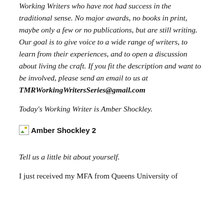Working Writers who have not had success in the traditional sense. No major awards, no books in print, maybe only a few or no publications, but are still writing. Our goal is to give voice to a wide range of writers, to learn from their experiences, and to open a discussion about living the craft. If you fit the description and want to be involved, please send an email to us at TMRWorkingWritersSeries@gmail.com
Today's Working Writer is Amber Shockley.
[Figure (photo): Image placeholder labeled 'Amber Shockley 2']
Tell us a little bit about yourself.
I just received my MFA from Queens University of